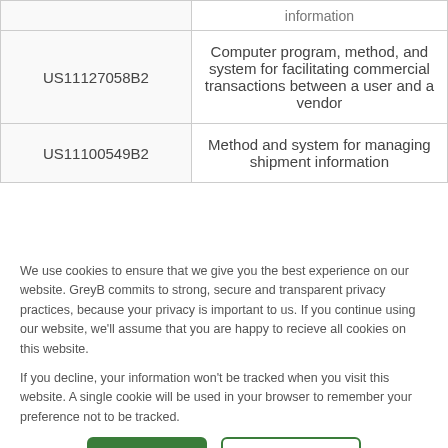| Patent Number | Information |
| --- | --- |
| US11127058B2 | Computer program, method, and system for facilitating commercial transactions between a user and a vendor |
| US11100549B2 | Method and system for managing shipment information |
We use cookies to ensure that we give you the best experience on our website. GreyB commits to strong, secure and transparent privacy practices, because your privacy is important to us. If you continue using our website, we'll assume that you are happy to recieve all cookies on this website.

If you decline, your information won't be tracked when you visit this website. A single cookie will be used in your browser to remember your preference not to be tracked.